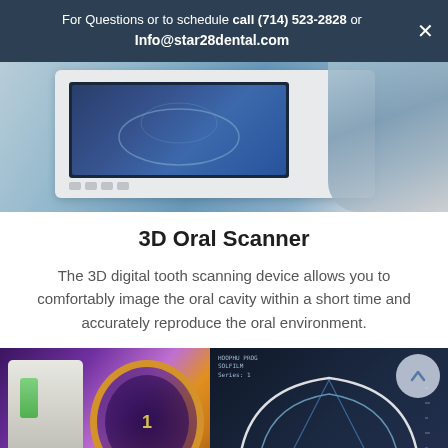For Questions or to schedule call (714) 523-2828 or Info@star28dental.com
[Figure (photo): Person using a 3D oral scanner device; dental equipment with screen showing tooth scan]
3D Oral Scanner
The 3D digital tooth scanning device allows you to comfortably image the oral cavity within a short time and accurately reproduce the oral environment.
[Figure (photo): Close-up of 3D dental scanning equipment with purple lighting, a gold arch-shaped dental model, and a monitor displaying a jaw arch scan overlay]